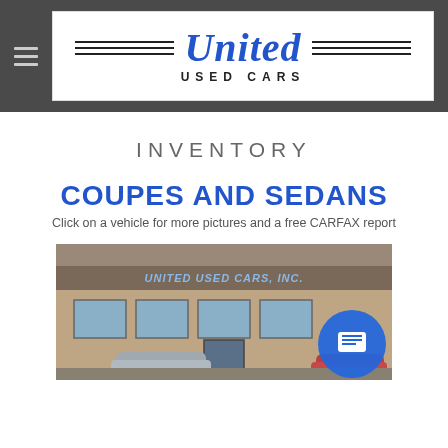United Used Cars
INVENTORY
COUPES AND SEDANS
Click on a vehicle for more pictures and a free CARFAX report
[Figure (photo): Exterior photo of United Used Cars, Inc. building — a stone facade with signage reading UNITED USED CARS, INC., windows, and cars parked in the lot. A blue chat bubble icon is overlaid in the lower right.]